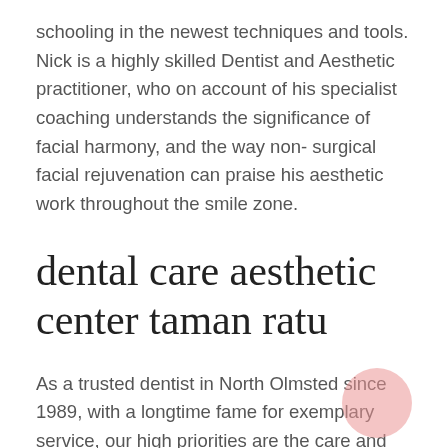schooling in the newest techniques and tools. Nick is a highly skilled Dentist and Aesthetic practitioner, who on account of his specialist coaching understands the significance of facial harmony, and the way non- surgical facial rejuvenation can praise his aesthetic work throughout the smile zone.
dental care aesthetic center taman ratu
As a trusted dentist in North Olmsted since 1989, with a longtime fame for exemplary service, our high priorities are the care and luxury of our patients and the supply of successful treatment outcomes. Regardless of whether or not or not you are a regular patient with us right here at